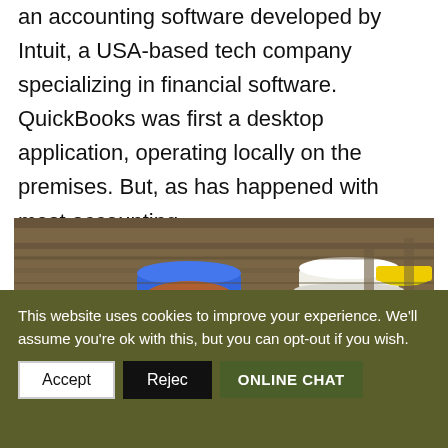an accounting software developed by Intuit, a USA-based tech company specializing in financial software. QuickBooks was first a desktop application, operating locally on the premises. But, as has happened with most accounting...
[Figure (photo): Two construction workers wearing hard hats (one blue, one white) facing each other in an industrial setting.]
This website uses cookies to improve your experience. We'll assume you're ok with this, but you can opt-out if you wish.